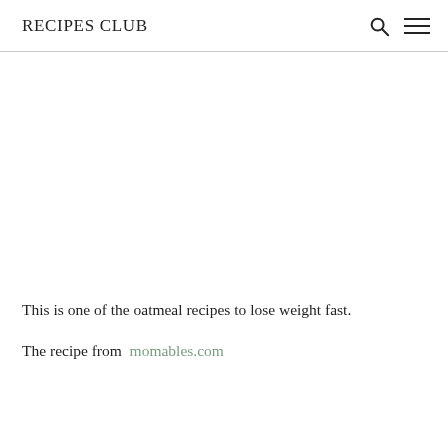RECIPES CLUB
This is one of the oatmeal recipes to lose weight fast.
The recipe from momables.com